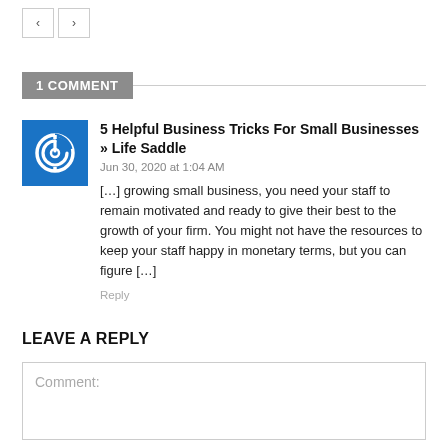< >
1 COMMENT
5 Helpful Business Tricks For Small Businesses » Life Saddle
Jun 30, 2020 at 1:04 AM
[…] growing small business, you need your staff to remain motivated and ready to give their best to the growth of your firm. You might not have the resources to keep your staff happy in monetary terms, but you can figure […]
Reply
LEAVE A REPLY
Comment: